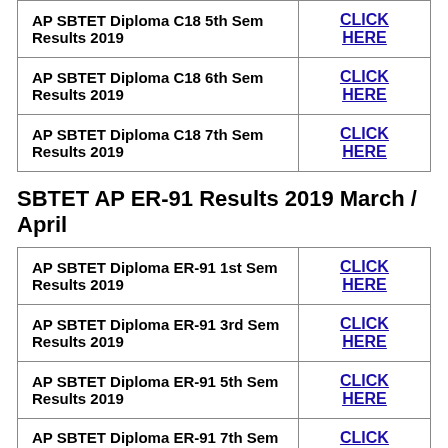| Description | Link |
| --- | --- |
| AP SBTET Diploma C18 5th Sem Results 2019 | CLICK HERE |
| AP SBTET Diploma C18 6th Sem Results 2019 | CLICK HERE |
| AP SBTET Diploma C18 7th Sem Results 2019 | CLICK HERE |
SBTET AP ER-91 Results 2019 March / April
| Description | Link |
| --- | --- |
| AP SBTET Diploma ER-91 1st Sem Results 2019 | CLICK HERE |
| AP SBTET Diploma ER-91 3rd Sem Results 2019 | CLICK HERE |
| AP SBTET Diploma ER-91 5th Sem Results 2019 | CLICK HERE |
| AP SBTET Diploma ER-91 7th Sem | CLICK HERE |